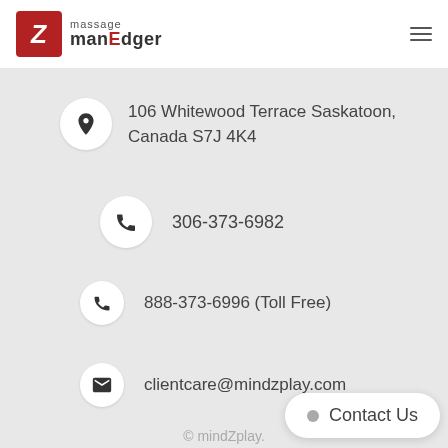massage manEdger (logo)
106 Whitewood Terrace Saskatoon, Canada S7J 4K4
306-373-6982
888-373-6996 (Toll Free)
clientcare@mindzplay.com
© mindZplay.
About | Terms | Pri...
Contact Us